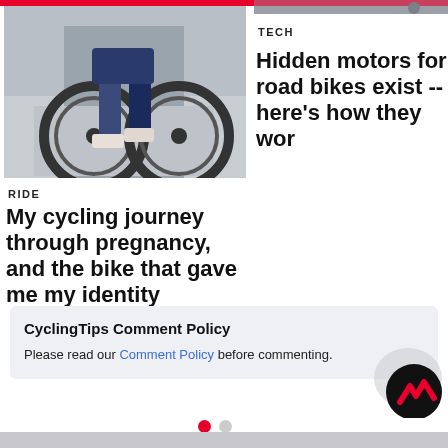[Figure (photo): Photo of a person's lower body on a bicycle, standing on a concrete surface]
[Figure (photo): Partial photo at top right, appears to show a bicycle wheel or component]
RIDE
My cycling journey through pregnancy, and the bike that gave me my identity
TECH
Hidden motors for road bikes exist -- here's how they wor
CyclingTips Comment Policy
Please read our Comment Policy before commenting.
[Figure (logo): CyclingTips logo: black circle with red chevron/mountain mark]